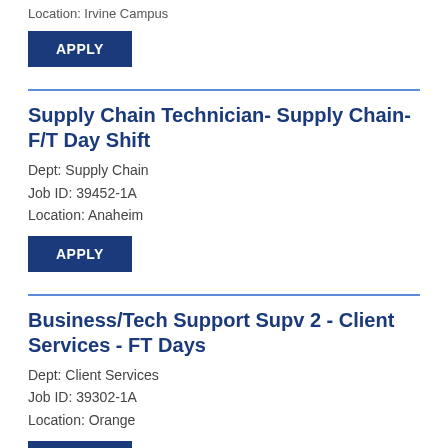Location: Irvine Campus
APPLY
Supply Chain Technician- Supply Chain- F/T Day Shift
Dept: Supply Chain
Job ID: 39452-1A
Location: Anaheim
APPLY
Business/Tech Support Supv 2 - Client Services - FT Days
Dept: Client Services
Job ID: 39302-1A
Location: Orange
APPLY
Facilities Management Data Warehouse